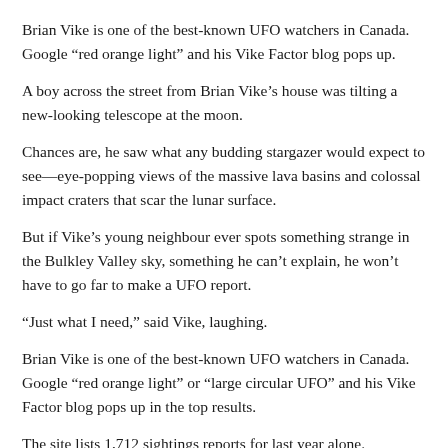Brian Vike is one of the best-known UFO watchers in Canada. Google “red orange light” and his Vike Factor blog pops up.
A boy across the street from Brian Vike’s house was tilting a new-looking telescope at the moon.
Chances are, he saw what any budding stargazer would expect to see—eye-popping views of the massive lava basins and colossal impact craters that scar the lunar surface.
But if Vike’s young neighbour ever spots something strange in the Bulkley Valley sky, something he can’t explain, he won’t have to go far to make a UFO report.
“Just what I need,” said Vike, laughing.
Brian Vike is one of the best-known UFO watchers in Canada. Google “red orange light” or “large circular UFO” and his Vike Factor blog pops up in the top results.
The site lists 1,712 sightings reports for last year alone.
“Most people, I really do believe, are not seeing...